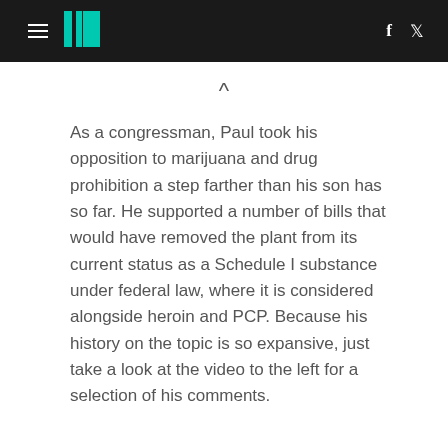HuffPost navigation with hamburger menu, logo, facebook and twitter icons
As a congressman, Paul took his opposition to marijuana and drug prohibition a step farther than his son has so far. He supported a number of bills that would have removed the plant from its current status as a Schedule I substance under federal law, where it is considered alongside heroin and PCP. Because his history on the topic is so expansive, just take a look at the video to the left for a selection of his comments.